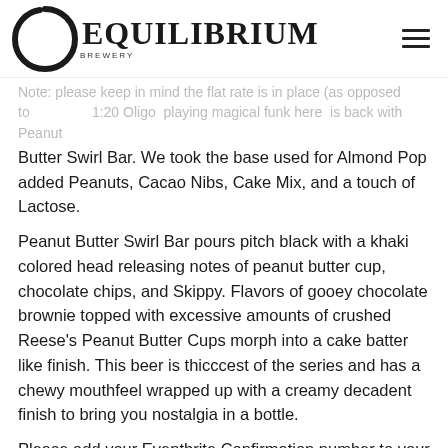EQUILIBRIUM BREWERY
Note: Please keep in mind the flat rate is in place (as opposed to individual items). 20 Oligo... Playing magical funk here... is back with Peanut Butter Swirl Bar. We took the base used for Almond Pop added Peanuts, Cacao Nibs, Cake Mix, and a touch of Lactose.
Peanut Butter Swirl Bar pours pitch black with a khaki colored head releasing notes of peanut butter cup, chocolate chips, and Skippy. Flavors of gooey chocolate brownie topped with excessive amounts of crushed Reese's Peanut Butter Cups morph into a cake batter like finish. This beer is thicccest of the series and has a chewy mouthfeel wrapped up with a creamy decadent finish to bring you nostalgia in a bottle.
Please add your Eventbrite Confirmation number to your order when checking out on our website for curbside pickup or delivery.
LUCKY STICK(or):